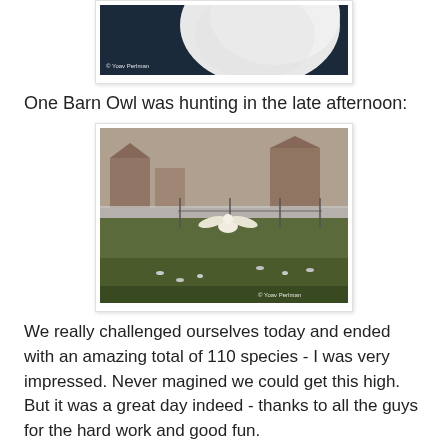[Figure (photo): Partial view of a white owl (snowy owl or barn owl) against a dark blue background, cropped at top. Watermark reads '© Yoav Perlman' in bottom left.]
One Barn Owl was hunting in the late afternoon:
[Figure (photo): A barn owl in flight over a winter field with snow visible near the horizon. Buildings visible in background. Birds on the ground in foreground. Watermark reads '© Yoav Perlman' in bottom right.]
We really challenged ourselves today and ended with an amazing total of 110 species - I was very impressed. Never magined we could get this high. But it was a great day indeed - thanks to all the guys for the hard work and good fun.